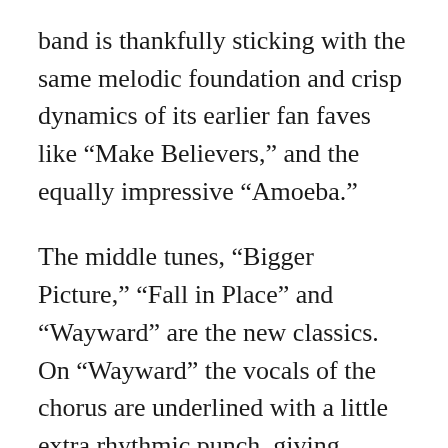band is thankfully sticking with the same melodic foundation and crisp dynamics of its earlier fan faves like “Make Believers,” and the equally impressive “Amoeba.”
The middle tunes, “Bigger Picture,” “Fall in Place” and “Wayward” are the new classics. On “Wayward” the vocals of the chorus are underlined with a little extra rhythmic punch, giving Matthews and company’s holler of “One more time!” a lot of energy.